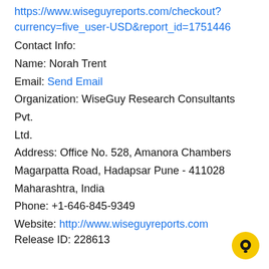https://www.wiseguyreports.com/checkout?currency=five_user-USD&report_id=1751446
Contact Info:
Name: Norah Trent
Email: Send Email
Organization: WiseGuy Research Consultants Pvt. Ltd.
Address: Office No. 528, Amanora Chambers Magarpatta Road, Hadapsar Pune - 411028 Maharashtra, India
Phone: +1-646-845-9349
Website: http://www.wiseguyreports.com
Release ID: 228613